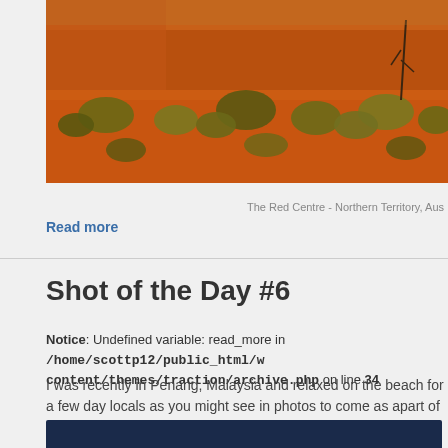[Figure (photo): Red Centre landscape photo showing red sandy ground with sparse green grass and scrubby vegetation, Northern Territory, Australia]
The Red Centre - Northern Territory, Aus
Read more
Shot of the Day #6
Notice: Undefined variable: read_more in /home/scottp12/public_html/w content/themes/traction/archive.php on line 34
I was recently in Penang, Malaysia and relaxed on the beach for a few day locals as you might see in photos to come as apart of my shot of the day se enjoy my photographs :) !
[Figure (screenshot): Dark navy header bar of an embedded image or widget block]